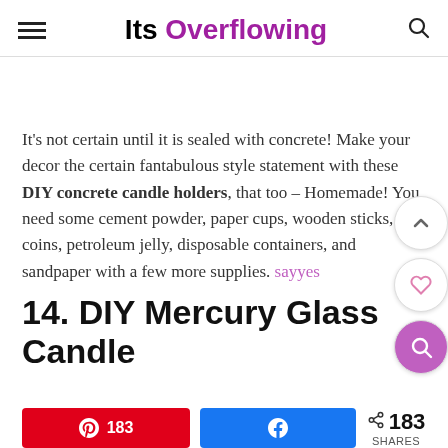Its Overflowing
It's not certain until it is sealed with concrete! Make your decor the certain fantabulous style statement with these DIY concrete candle holders, that too – Homemade! You need some cement powder, paper cups, wooden sticks, coins, petroleum jelly, disposable containers, and sandpaper with a few more supplies. sayyes
14. DIY Mercury Glass Candle
183 shares, Pinterest 183, Facebook share button